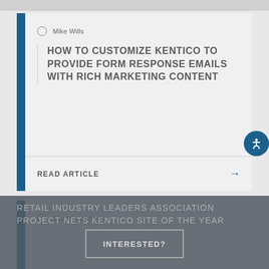Mike Wills
HOW TO CUSTOMIZE KENTICO TO PROVIDE FORM RESPONSE EMAILS WITH RICH MARKETING CONTENT
READ ARTICLE →
BlueModus News
RETAIL INDUSTRY LEADERS ASSOCIATION PROJECT NETS KENTICO SITE OF THE YEAR
INTERESTED?